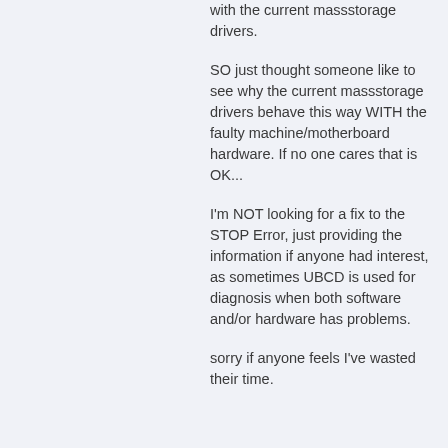with the current massstorage drivers.
SO just thought someone like to see why the current massstorage drivers behave this way WITH the faulty machine/motherboard hardware. If no one cares that is OK...
I'm NOT looking for a fix to the STOP Error, just providing the information if anyone had interest, as sometimes UBCD is used for diagnosis when both software and/or hardware has problems.
sorry if anyone feels I've wasted their time.